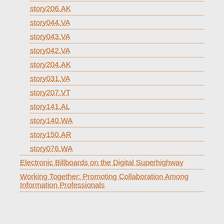story206.AK
story044.VA
story043.VA
story042.VA
story204.AK
story031.VA
story207.VT
story141.AL
story140.WA
story150.AR
story076.WA
Electronic Billboards on the Digital Superhighway
Working Together: Promoting Collaboration Among Information Professionals